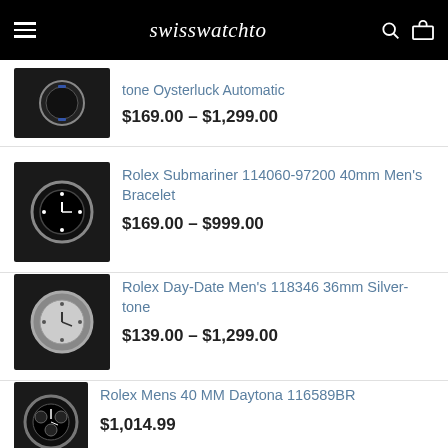swisswatchto
tone Oysterluck Automatic
$169.00 – $1,299.00
Rolex Submariner 114060-97200 40mm Men's Bracelet
$169.00 – $999.00
Rolex Day-Date Men's 118346 36mm Silver-tone
$139.00 – $1,299.00
Rolex Mens 40 MM Daytona 116589BR
$1,014.99
ABOUT US